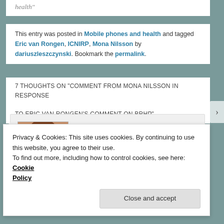health"
This entry was posted in Mobile phones and health and tagged Eric van Rongen, ICNIRP, Mona Nilsson by dariuszleszczynski. Bookmark the permalink.
7 THOUGHTS ON "COMMENT FROM MONA NILSSON IN RESPONSE TO ERIC VAN RONGEN'S COMMENT ON BRHP"
[Figure (photo): Profile photo of Mona Nilsson - woman with shoulder-length auburn hair]
Mona Nilsson on May 1, 2018 at 12:31 said:
Privacy & Cookies: This site uses cookies. By continuing to use this website, you agree to their use.
To find out more, including how to control cookies, see here: Cookie Policy
Close and accept